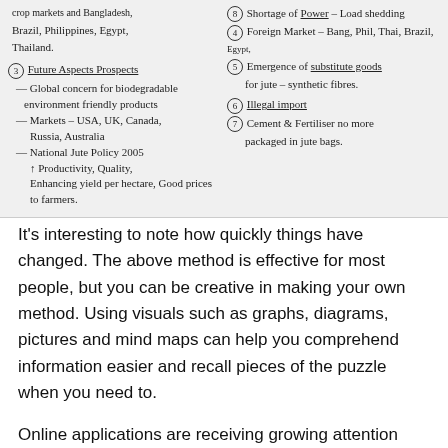[Figure (other): Handwritten notes about jute industry topics including future prospects, markets (USA, UK, Canada, Russia, Australia), National Jute Policy 2005, shortage of power/load shedding, foreign markets (Bang, Phil, Thai, Brazil, Egypt), emergence of substitute goods for jute (synthetic fibres), illegal import, cement and fertiliser no more packaged in jute bags.]
It's interesting to note how quickly things have changed. The above method is effective for most people, but you can be creative in making your own method. Using visuals such as graphs, diagrams, pictures and mind maps can help you comprehend information easier and recall pieces of the puzzle when you need to.
Online applications are receiving growing attention from